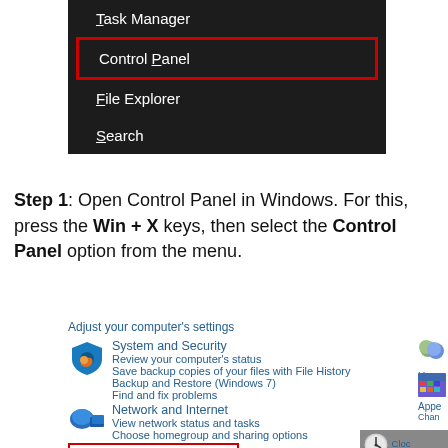[Figure (screenshot): Windows right-click Start menu showing Task Manager, Control Panel (highlighted with red box), File Explorer, and Search options on dark background.]
Step 1: Open Control Panel in Windows. For this, press the Win + X keys, then select the Control Panel option from the menu.
[Figure (screenshot): Windows Control Panel showing 'Adjust your computer's settings' with categories: System and Security, Network and Internet, Hardware and Sound (highlighted with red box), and partial right column showing User Accounts, Appearance, Clock. Icons shown for each category.]